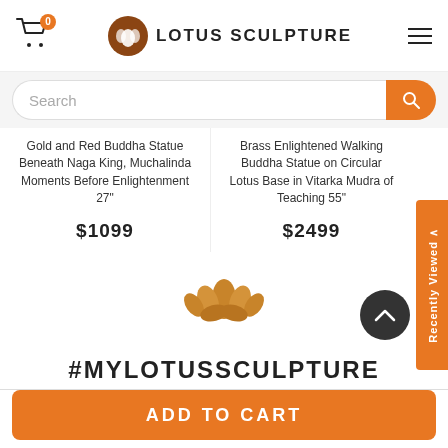Lotus Sculpture — Cart (0), Search bar, Navigation
Gold and Red Buddha Statue Beneath Naga King, Muchalinda Moments Before Enlightenment 27"
$1099
Brass Enlightened Walking Buddha Statue on Circular Lotus Base in Vitarka Mudra of Teaching 55"
$2499
Recently Viewed
[Figure (logo): Lotus flower icon in brown/orange color]
#MYLOTUSSCULPTURE
ADD TO CART